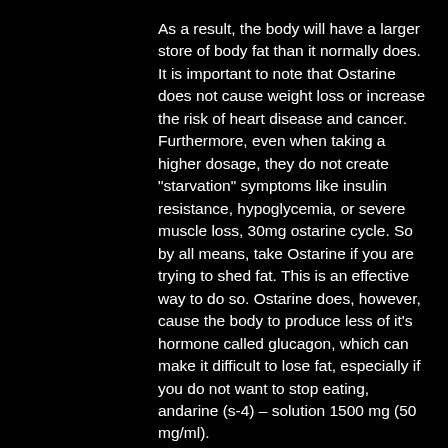As a result, the body will have a larger store of body fat than it normally does. It is important to note that Ostarine does not cause weight loss or increase the risk of heart disease and cancer. Furthermore, even when taking a higher dosage, they do not create "starvation" symptoms like insulin resistance, hypoglycemia, or severe muscle loss, 30mg ostarine cycle. So by all means, take Ostarine if you are trying to shed fat. This is an effective way to do so. Ostarine does, however, cause the body to produce less of it's hormone called glucagon, which can make it difficult to lose fat, especially if you do not want to stop eating, andarine (s-4) – solution 1500 mg (50 mg/ml).
A lot of the research done with Ostarine has shown that it can improve the quality of life, ostarine before and after. For example, the National Cancer Institute reported that one